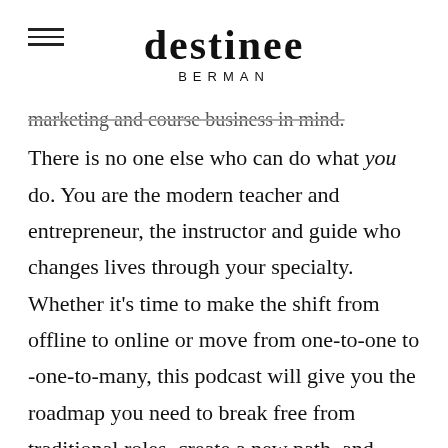destinee BERMAN
marketing and course business in mind.
There is no one else who can do what you do. You are the modern teacher and entrepreneur, the instructor and guide who changes lives through your specialty. Whether it's time to make the shift from offline to online or move from one-to-one to -one-to-many, this podcast will give you the roadmap you need to break free from traditional roles, create a new path, and